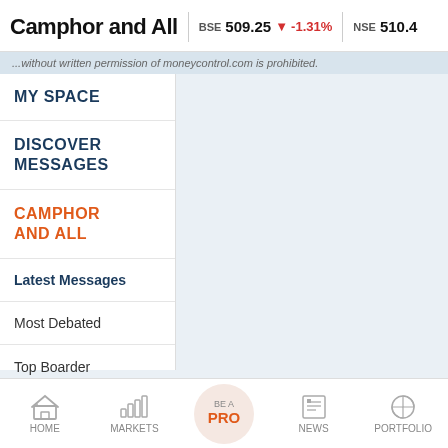Camphor and All | BSE 509.25 ▼ -1.31% | NSE 510.4
...without written permission of moneycontrol.com is prohibited.
MY SPACE
DISCOVER MESSAGES
CAMPHOR AND ALL
Latest Messages
Most Debated
Top Boarder Messages
SECTIONS
HOME | MARKETS | BE A PRO | NEWS | PORTFOLIO